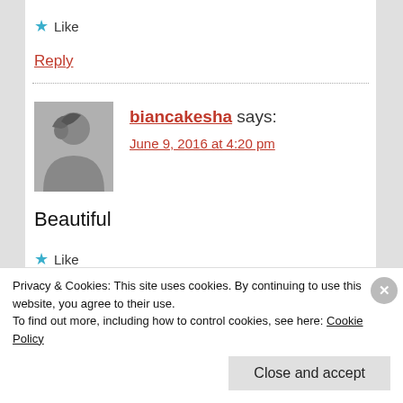★ Like
Reply
biancakesha says:
June 9, 2016 at 4:20 pm
Beautiful
★ Like
Privacy & Cookies: This site uses cookies. By continuing to use this website, you agree to their use.
To find out more, including how to control cookies, see here: Cookie Policy
Close and accept